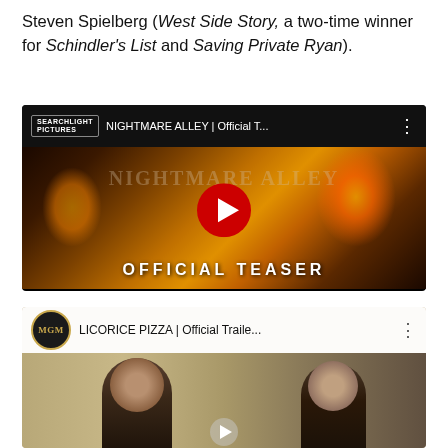Steven Spielberg (West Side Story, a two-time winner for Schindler's List and Saving Private Ryan).
[Figure (screenshot): YouTube video thumbnail for NIGHTMARE ALLEY | Official Teaser - Searchlight Pictures. Shows a dark scene with fire and silhouette, with 'OFFICIAL TEASER' text and YouTube play button.]
[Figure (screenshot): YouTube video thumbnail for LICORICE PIZZA | Official Trailer - MGM. Shows two people in a warm-toned outdoor scene.]